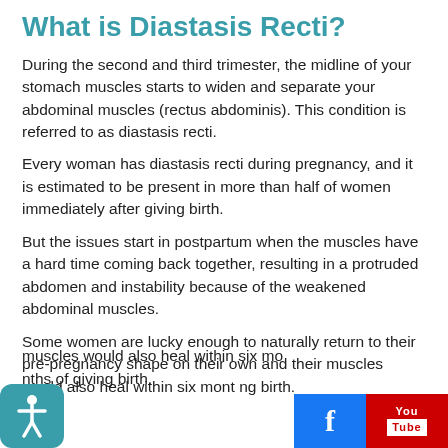What is Diastasis Recti?
During the second and third trimester, the midline of your stomach muscles starts to widen and separate your abdominal muscles (rectus abdominis). This condition is referred to as diastasis recti.
Every woman has diastasis recti during pregnancy, and it is estimated to be present in more than half of women immediately after giving birth.
But the issues start in postpartum when the muscles have a hard time coming back together, resulting in a protruded abdomen and instability because of the weakened abdominal muscles.
Some women are lucky enough to naturally return to their pre-pregnancy shape on their own and their muscles would also heal within six months of giving birth.